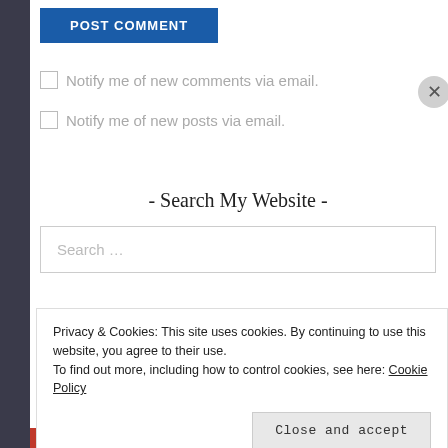POST COMMENT
Notify me of new comments via email.
Notify me of new posts via email.
- Search My Website -
Search …
Privacy & Cookies: This site uses cookies. By continuing to use this website, you agree to their use.
To find out more, including how to control cookies, see here: Cookie Policy
Close and accept